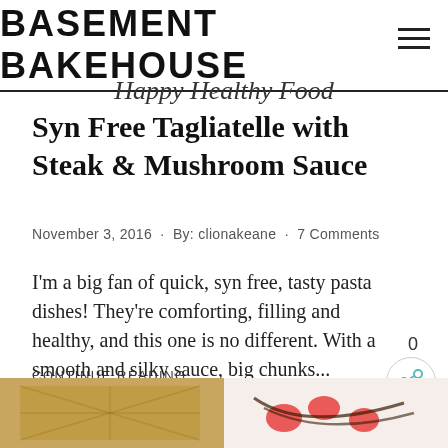BASEMENT BAKEHOUSE
Happy Healthy Food
Syn Free Tagliatelle with Steak & Mushroom Sauce
November 3, 2016 · By: clionakeane · 7 Comments
I'm a big fan of quick, syn free, tasty pasta dishes! They're comforting, filling and healthy, and this one is no different. With a smooth and silky sauce, big chunks...
CONTINUE READING
[Figure (photo): Two food photos side by side: a waffle on the left and strawberries with chocolate sauce on the right]